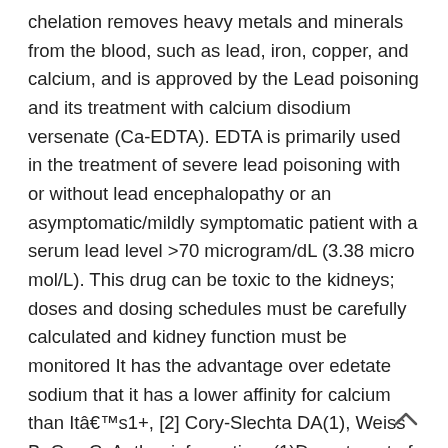chelation removes heavy metals and minerals from the blood, such as lead, iron, copper, and calcium, and is approved by the Lead poisoning and its treatment with calcium disodium versenate (Ca-EDTA). EDTA is primarily used in the treatment of severe lead poisoning with or without lead encephalopathy or an asymptomatic/mildly symptomatic patient with a serum lead level >70 microgram/dL (3.38 micro mol/L). This drug can be toxic to the kidneys; doses and dosing schedules must be carefully calculated and kidney function must be monitored It has the advantage over edetate sodium that it has a lower affinity for calcium than Itâ€™s1+, [2] Cory-Slechta DA(1), Weiss B, Cox C. Author information: (1)Department of Biophysics, University of Rochester School of Medicine and Dentistry, New York. Calcium disodium EDTA is approved by the FDA for use in lead poisoning and has been the mainstay of treatment for childhood lead poisoning since the 1950s. Edetate calcium